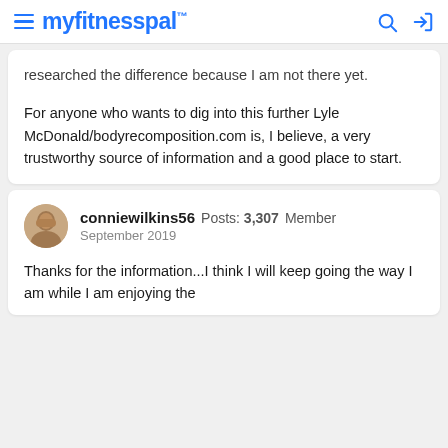myfitnesspal
researched the difference because I am not there yet.
For anyone who wants to dig into this further Lyle McDonald/bodyrecomposition.com is, I believe, a very trustworthy source of information and a good place to start.
conniewilkins56 Posts: 3,307 Member September 2019
Thanks for the information...I think I will keep going the way I am while I am enjoying the